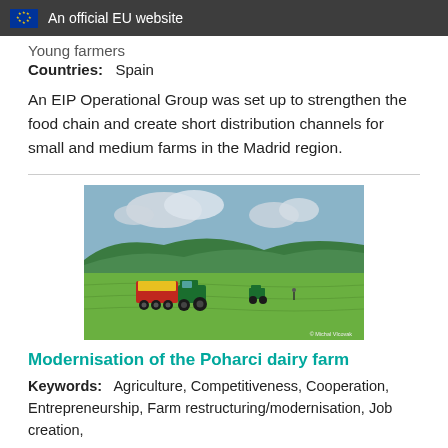An official EU website
Young farmers
Countries:   Spain
An EIP Operational Group was set up to strengthen the food chain and create short distribution channels for small and medium farms in the Madrid region.
[Figure (photo): Agricultural scene showing tractors and a red/yellow harvesting trailer on a green hillside field with forest in background. Photo credit: © Michal Vlcovak]
Modernisation of the Poharci dairy farm
Keywords:   Agriculture, Competitiveness, Cooperation, Entrepreneurship, Farm restructuring/modernisation, Job creation,